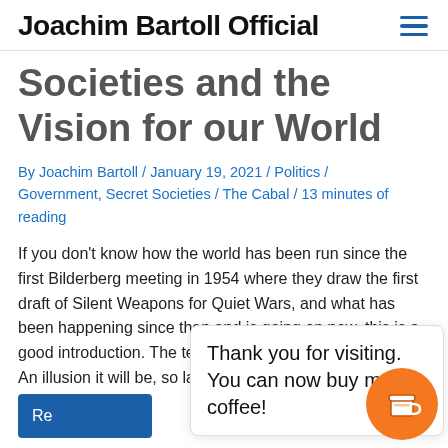Joachim Bartoll Official
Societies and the Vision for our World
By Joachim Bartoll / January 19, 2021 / Politics / Government, Secret Societies / The Cabal / 13 minutes of reading
If you don't know how the world has been run since the first Bilderberg meeting in 1954 where they draw the first draft of Silent Weapons for Quiet Wars, and what has been happening since then and is going on now, this is a good introduction. The text below is at least 40 years old. An illusion it will be, so large, so vast it will escape their percepti
Thank you for visiting. You can now buy me a coffee!